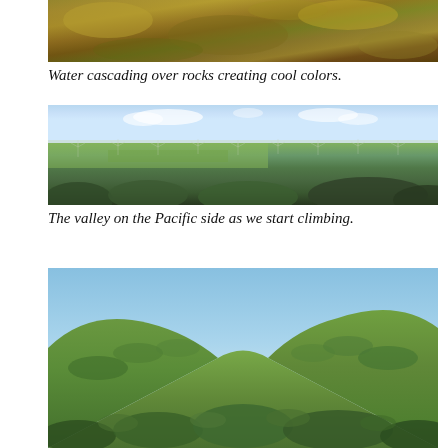[Figure (photo): Water cascading over rocks with green and golden mossy colors, close-up view.]
Water cascading over rocks creating cool colors.
[Figure (photo): Panoramic view of a valley on the Pacific side with wind turbines visible in the distance, green fields, and a hazy sky.]
The valley on the Pacific side as we start climbing.
[Figure (photo): Green hillside with lush vegetation and a valley between two rounded hills under a clear blue sky.]